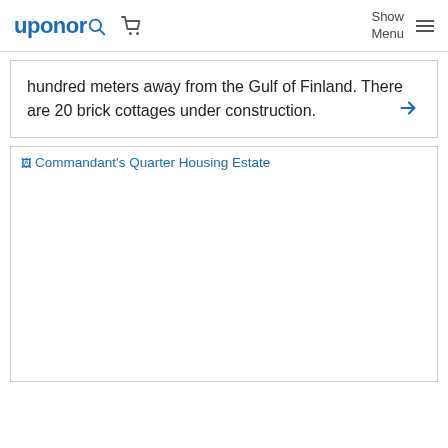uponor [search] [cart] Show Menu
hundred meters away from the Gulf of Finland. There are 20 brick cottages under construction.
[Figure (illustration): Commandant's Quarter Housing Estate image placeholder with broken image icon and alt text link]
Commandant's Quarter Housing Estate